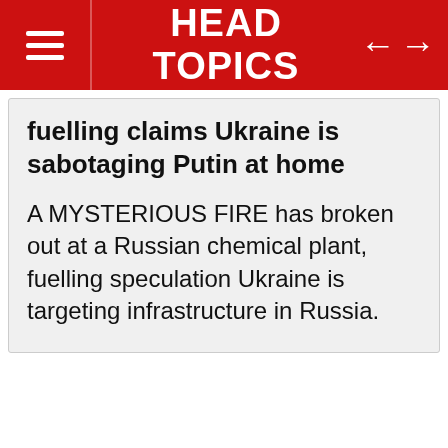HEAD TOPICS
fuelling claims Ukraine is sabotaging Putin at home
A MYSTERIOUS FIRE has broken out at a Russian chemical plant, fuelling speculation Ukraine is targeting infrastructure in Russia.